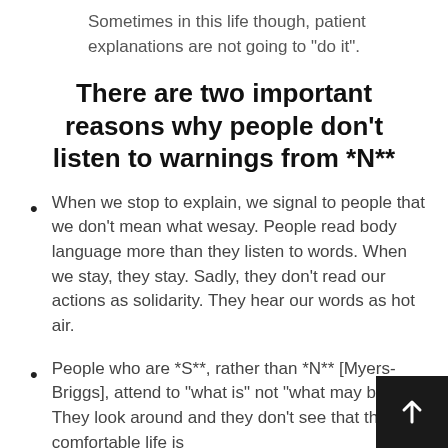Sometimes in this life though, patient explanations are not going to “do it”.
There are two important reasons why people don’t listen to warnings from *N**
When we stop to explain, we signal to people that we don’t mean what wesay.  People read body language more than they listen to words.  When we stay, they stay.  Sadly, they don’t read our actions as solidarity.  They hear our words as hot air.
People who are *S**, rather than *N** [Myers-Briggs], attend to “what is” not “what may be”.  They look around and they don’t see that their comfortable life is